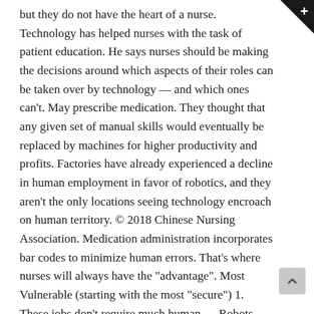but they do not have the heart of a nurse. Technology has helped nurses with the task of patient education. He says nurses should be making the decisions around which aspects of their roles can be taken over by technology — and which ones can't. May prescribe medication. They thought that any given set of manual skills would eventually be replaced by machines for higher productivity and profits. Factories have already experienced a decline in human employment in favor of robotics, and they aren't the only locations seeing technology encroach on human territory. © 2018 Chinese Nursing Association. Medication administration incorporates bar codes to minimize human errors. That's where nurses will always have the "advantage". Most Vulnerable (starting with the most "secure") 1. These jobs don't require much human … Robots have arrived in North American health care, too. May focus on health promotion and disease prevention. value and role brought to healthcare by nurses cannot be replaced by technology, per se. Nurses should be involved in deciding which aspects of their practice can be delegated to technology. In fact, the National Council of State Boards of Nursing (NCSBN) published an award-winning and groundbreaking study that found that up to half of traditional clinical hours in pre-licensure nursing programs